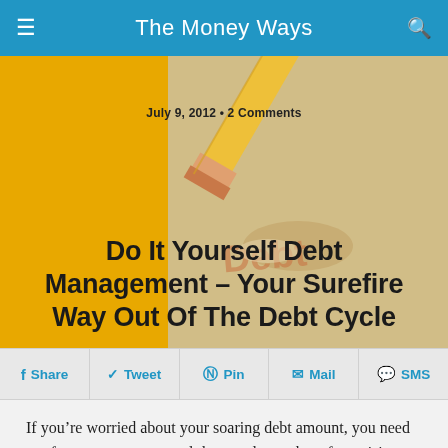The Money Ways
[Figure (photo): A pencil erasing the word 'Debt' written on paper, with yellow/golden background overlay]
July 9, 2012 • 2 Comments
Do It Yourself Debt Management – Your Surefire Way Out Of The Debt Cycle
f Share   ✓ Tweet   Pin   ✉ Mail   💬 SMS
If you're worried about your soaring debt amount, you need not fret as you can control them and stop them from rising with little dedication and prior planning. Though there are debt reduction agencies that can offer you with professional help and assist you in reducing your debt burden, yet what's the use